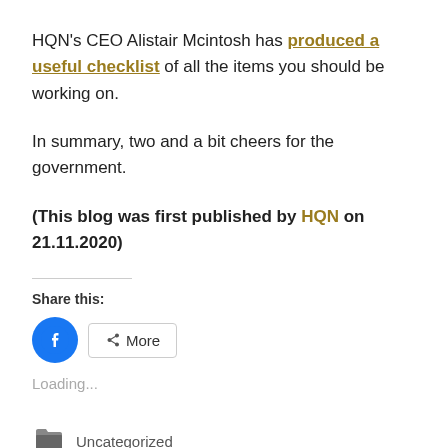HQN's CEO Alistair Mcintosh has produced a useful checklist of all the items you should be working on.
In summary, two and a bit cheers for the government.
(This blog was first published by HQN on 21.11.2020)
Share this:
[Figure (other): Facebook share button (blue circle with f icon) and a More button with share icon]
Loading...
Uncategorized